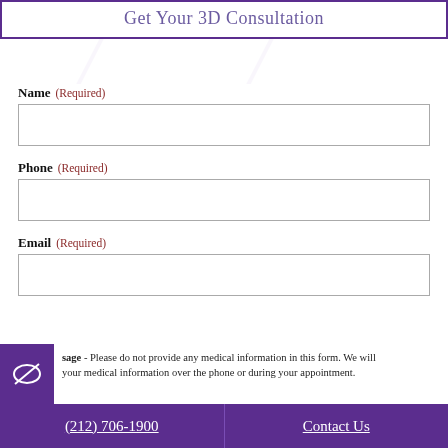Get Your 3D Consultation
Name (Required)
Phone (Required)
Email (Required)
sage - Please do not provide any medical information in this form. We will your medical information over the phone or during your appointment.
(212) 706-1900   Contact Us